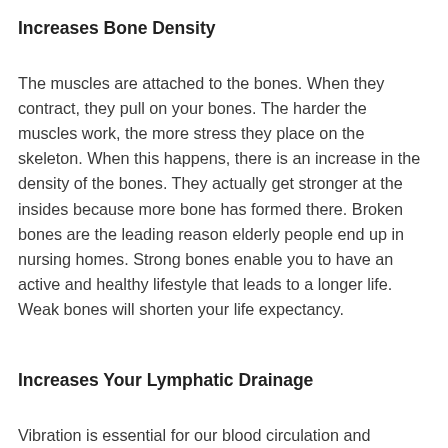Increases Bone Density
The muscles are attached to the bones. When they contract, they pull on your bones. The harder the muscles work, the more stress they place on the skeleton. When this happens, there is an increase in the density of the bones. They actually get stronger at the insides because more bone has formed there. Broken bones are the leading reason elderly people end up in nursing homes. Strong bones enable you to have an active and healthy lifestyle that leads to a longer life. Weak bones will shorten your life expectancy.
Increases Your Lymphatic Drainage
Vibration is essential for our blood circulation and lymphatic drainage. But what is lymphatic drainage? The lymphatic system is a network of ducts and nodes that drains toxins out of the muscles in the body. These nodes help in conveying antibodies into the muscles, making our bodies stronger and resistant to fatigue. Lymph nodes play a significant role in